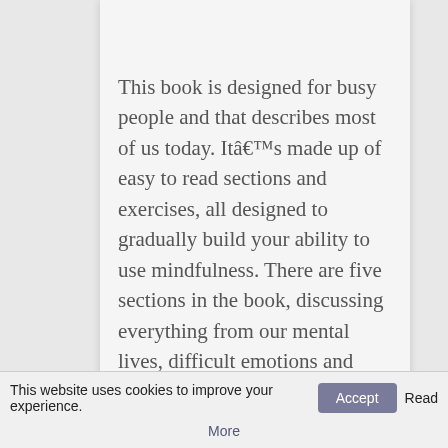This book is designed for busy people and that describes most of us today. Itâ€™s made up of easy to read sections and exercises, all designed to gradually build your ability to use mindfulness. There are five sections in the book, discussing everything from our mental lives, difficult emotions and moving forward. Mindfulness techniques can benefit an individual in all those situations.
The Authors ask the question, how
This website uses cookies to improve your experience.